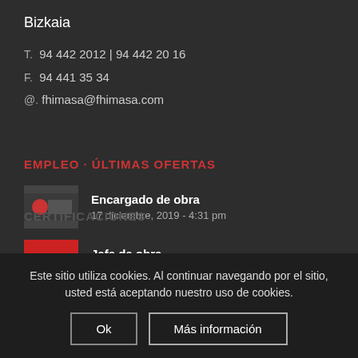Bizkaia
T.  94 442 2012 | 94 442 20 16
F.  94 441 35 34
@.  fhimasa@fhimasa.com
EMPLEO · ÚLTIMAS OFERTAS
Encargado de obra
17 diciembre, 2019 - 4:31 pm
Jefe de obra
1 noviembre, 2019 - 12:12 pm
Este sitio utiliza cookies. Al continuar navegando por el sitio, usted está aceptando nuestro uso de cookies.
Ok
Más información
CERTIFICACIONES